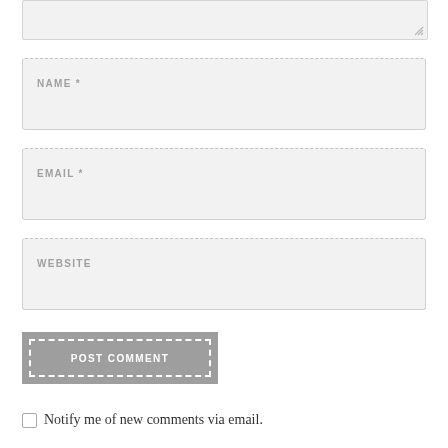[Figure (screenshot): Partial textarea input box at top of page, showing grey background and resize handle in bottom right corner]
NAME *
EMAIL *
WEBSITE
POST COMMENT
Notify me of new comments via email.
Notify me of new posts via email.